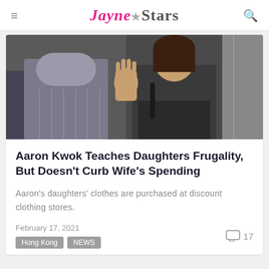JAYNE★STARS
[Figure (photo): Photo of a man in a grey suit and a woman waving at the camera, standing in what appears to be a hotel or event venue lobby.]
Aaron Kwok Teaches Daughters Frugality, But Doesn't Curb Wife's Spending
Aaron's daughters' clothes are purchased at discount clothing stores.
February 17, 2021
Hong Kong  NEWS
17